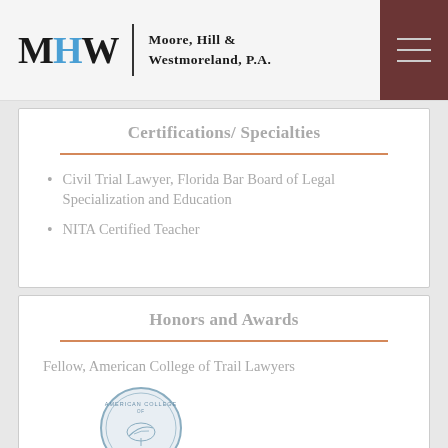[Figure (logo): Moore, Hill & Westmoreland, P.A. law firm logo with MHW initials and hamburger menu]
Certifications/ Specialties
Civil Trial Lawyer, Florida Bar Board of Legal Specialization and Education
NITA Certified Teacher
Honors and Awards
Fellow, American College of Trail Lawyers
[Figure (logo): American College of Trial Lawyers circular badge/seal]